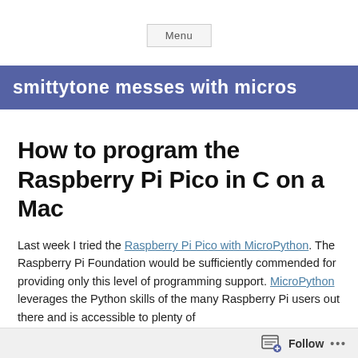Menu
smittytone messes with micros
How to program the Raspberry Pi Pico in C on a Mac
Last week I tried the Raspberry Pi Pico with MicroPython. The Raspberry Pi Foundation would be sufficiently commended for providing only this level of programming support. MicroPython leverages the Python skills of the many Raspberry Pi users out there and is accessible to plenty of
Follow ...